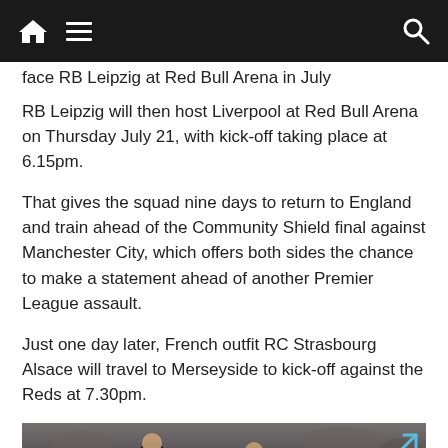Navigation bar with home, menu, and search icons
face RB Leipzig at Red Bull Arena in July
RB Leipzig will then host Liverpool at Red Bull Arena on Thursday July 21, with kick-off taking place at 6.15pm.
That gives the squad nine days to return to England and train ahead of the Community Shield final against Manchester City, which offers both sides the chance to make a statement ahead of another Premier League assault.
Just one day later, French outfit RC Strasbourg Alsace will travel to Merseyside to kick-off against the Reds at 7.30pm.
[Figure (photo): Partial photo of football players, appears to show players in red jerseys with a crowd in the background]